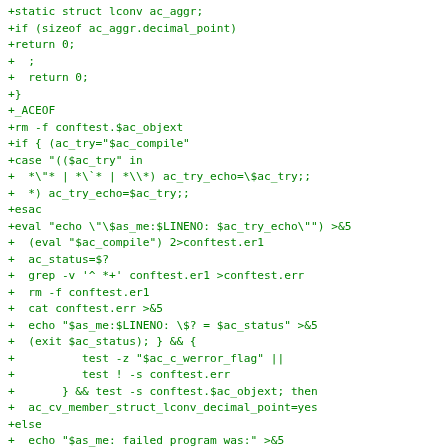+static struct lconv ac_aggr;
+if (sizeof ac_aggr.decimal_point)
+return 0;
+  ;
+  return 0;
+}
+_ACEOF
+rm -f conftest.$ac_objext
+if { (ac_try="$ac_compile"
+case "(($ac_try" in
+  *\"* | *\`* | *\\*) ac_try_echo=\$ac_try;;
+  *) ac_try_echo=$ac_try;;
+esac
+eval "echo \"\$as_me:$LINENO: $ac_try_echo\"") >&5
+  (eval "$ac_compile") 2>conftest.er1
+  ac_status=$?
+  grep -v '^ *+' conftest.er1 >conftest.err
+  rm -f conftest.er1
+  cat conftest.err >&5
+  echo "$as_me:$LINENO: \$? = $ac_status" >&5
+  (exit $ac_status); } && {
+          test -z "$ac_c_werror_flag" ||
+          test ! -s conftest.err
+       } && test -s conftest.$ac_objext; then
+  ac_cv_member_struct_lconv_decimal_point=yes
+else
+  echo "$as_me: failed program was:" >&5
+sed 's/^/| /' conftest.$ac_ext >&5
+
+          ac_cv_member_struct_lconv_decimal_point=no